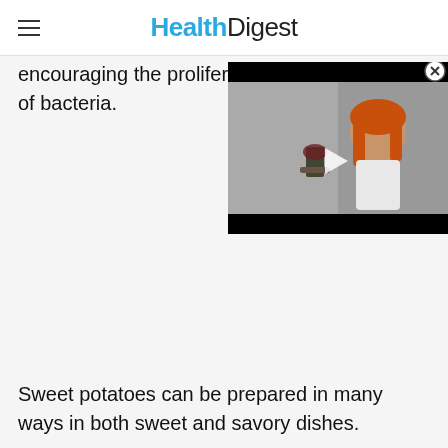HealthDigest
encouraging the proliferation of bacteria.
[Figure (screenshot): Video player overlay showing a woman with red wine glass, with black bars at top and bottom, and a white play button in the center. A close (X) button appears in the top right corner.]
Sweet potatoes can be prepared in many ways in both sweet and savory dishes.